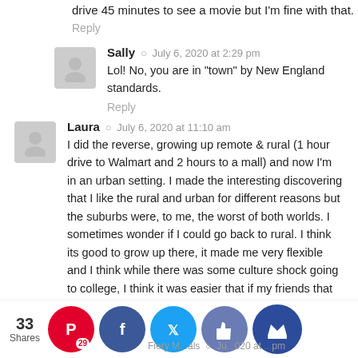drive 45 minutes to see a movie but I'm fine with that.
Reply
Sally  ©  July 6, 2020 at 2:29 pm
Lol! No, you are in "town" by New England standards.
Reply
Laura  ©  July 6, 2020 at 11:10 am
I did the reverse, growing up remote & rural (1 hour drive to Walmart and 2 hours to a mall) and now I'm in an urban setting. I made the interesting discovering that I like the rural and urban for different reasons but the suburbs were, to me, the worst of both worlds. I sometimes wonder if I could go back to rural. I think its good to grow up there, it made me very flexible and I think while there was some culture shock going to college, I think it was easier that if my friends that grew up in the suburbs tried to go remote. I think most of them would last max 2 weeks :).
Reply
33 Shares
Fiery M...als  ©  Ju...020 at ...pm